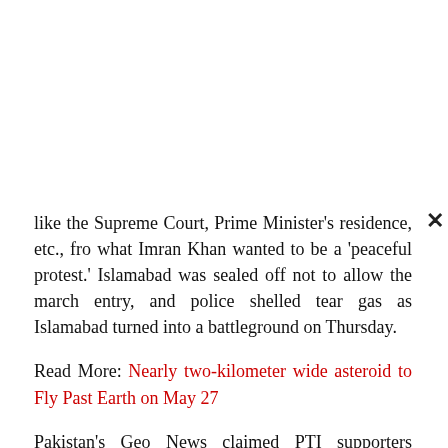like the Supreme Court, Prime Minister's residence, etc., from what Imran Khan wanted to be a 'peaceful protest.' Islamabad was sealed off not to allow the march entry, and police shelled tear gas as Islamabad turned into a battleground on Thursday.
Read More: Nearly two-kilometer wide asteroid to Fly Past Earth on May 27
Pakistan's Geo News claimed PTI supporters attacked its office, injuring some journalists.
Imran Khan reached Islamabad and addressed the march, where he said the government would be happy if he staged a sit-in, leading to more clashes between his party and the police.
"I decided that I will sit here till the government